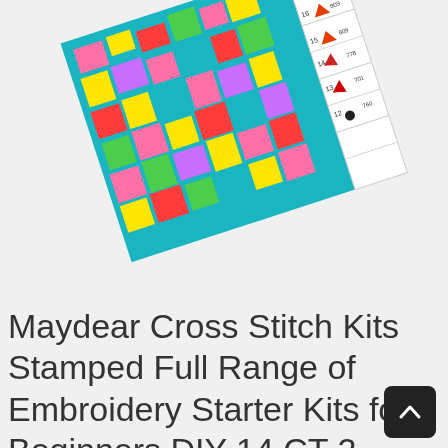[Figure (photo): A cross stitch embroidery kit showing a colorful pattern with flowers and animals, tilted at an angle, with a color key chart visible on the right side. Bright colors including teal, pink, yellow, red, and green are visible.]
Maydear Cross Stitch Kits Stamped Full Range of Embroidery Starter Kits for Beginners DIY 14 CT 2 Strands Fawn Among The Flowers